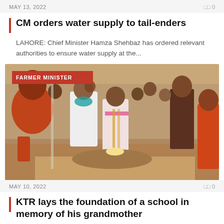MAY 13, 2022   0 0
CM orders water supply to tail-enders
LAHORE: Chief Minister Hamza Shehbaz has ordered relevant authorities to ensure water supply at the...
[Figure (photo): Group of people at an outdoor ceremony, man in orange clothing on left, minister in white with pink and yellow shawl performing ritual, crowd in background. Badge reads FARMER MINISTER.]
MAY 10, 2022   0 0
KTR lays the foundation of a school in memory of his grandmother